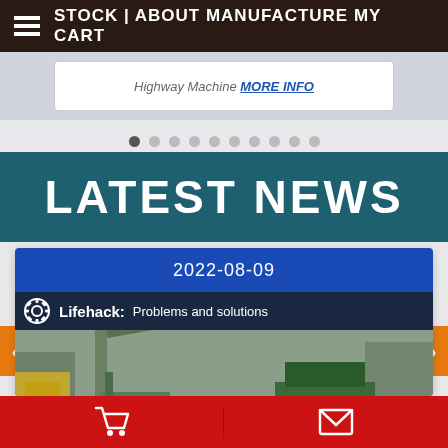STOCK | ABOUT MANUFACTURE MY CART
[Figure (screenshot): Partial view of a slider banner showing 'Highway Machine MORE INFO' text link]
[Figure (infographic): Carousel dot navigation with 10 dots, first dot active]
LATEST NEWS
2022-08-09
[Figure (photo): Lifehack: Problems and solutions banner with gear icon, showing a water well drilling rig machine in outdoor setting]
Several aspects need to be paid attention to in the drilling process of water well drilling rig
Shopping cart and envelope icons on red toolbar